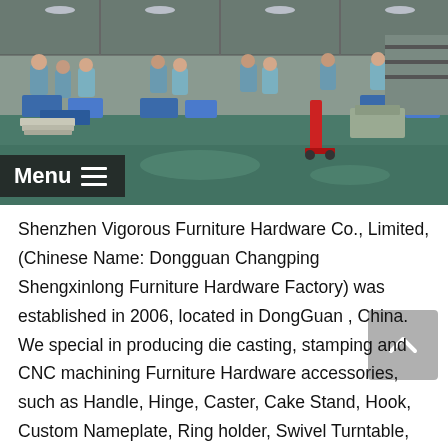[Figure (photo): Factory floor photo showing workers in blue uniforms at workstations with boxes and equipment in a large industrial space with green floor. A red pallet jack is visible in the background.]
Menu ≡
Shenzhen Vigorous Furniture Hardware Co., Limited, (Chinese Name: Dongguan Changping Shengxinlong Furniture Hardware Factory) was established in 2006, located in DongGuan , China. We special in producing die casting, stamping and CNC machining Furniture Hardware accessories, such as Handle, Hinge, Caster, Cake Stand, Hook, Custom Nameplate, Ring holder, Swivel Turntable, Ice Bucket, Hip Flask Engraved Logo as require by our customer, we also branching out into Wooden Tableware and ornaments such as Wooden Spoon Fork, Wooden Cutting Board, Tray, Cork, Dice, Pepper mill, Easel